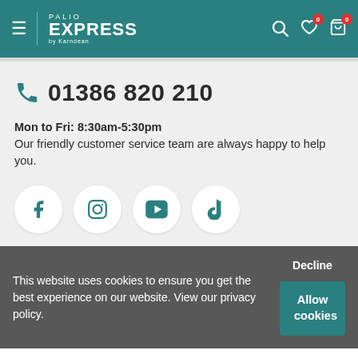PALIO EXPRESS by Karndean
01386 820 210
Mon to Fri: 8:30am-5:30pm
Our friendly customer service team are always happy to help you.
[Figure (illustration): Four social media icons in white circles: Facebook, Instagram, YouTube, TikTok]
This website uses cookies to ensure you get the best experience on our website. View our privacy policy.
Decline
Allow cookies